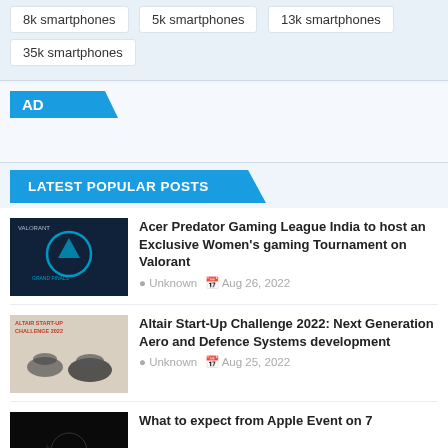8k smartphones
5k smartphones
13k smartphones
35k smartphones
AD
LATEST POPULAR POSTS
Acer Predator Gaming League India to host an Exclusive Women's gaming Tournament on Valorant
Unknown  Aug 26, 2022
Altair Start-Up Challenge 2022: Next Generation Aero and Defence Systems development
Unknown  Aug 25, 2022
What to expect from Apple Event on 7